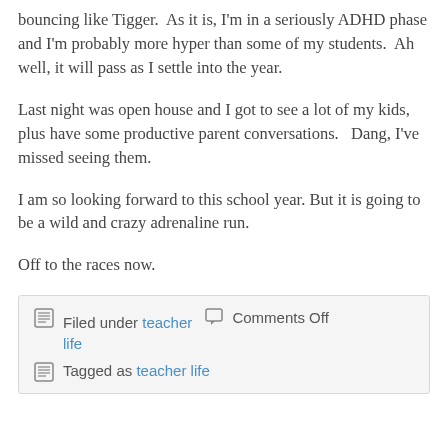bouncing like Tigger.  As it is, I'm in a seriously ADHD phase and I'm probably more hyper than some of my students.  Ah well, it will pass as I settle into the year.
Last night was open house and I got to see a lot of my kids, plus have some productive parent conversations.   Dang, I've missed seeing them.
I am so looking forward to this school year.  But it is going to be a wild and crazy adrenaline run.
Off to the races now.
Filed under teacher life  Comments Off  Tagged as teacher life